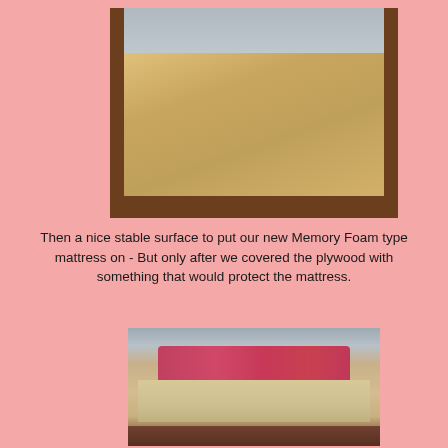[Figure (photo): A wooden plywood bed platform/base sitting on a floor in a room, viewed from an angle showing the flat top surface and dark wood frame edges. Room items visible in background.]
Then a nice stable surface to put our new Memory Foam type mattress on - But only after we covered the plywood with something that would protect the mattress.
[Figure (photo): A bed with a mattress covered by a beige/tan quilted cover, red/pink pillows at the head, and stuffed animal teddy bears sitting on the mattress. Nightstand visible on the side.]